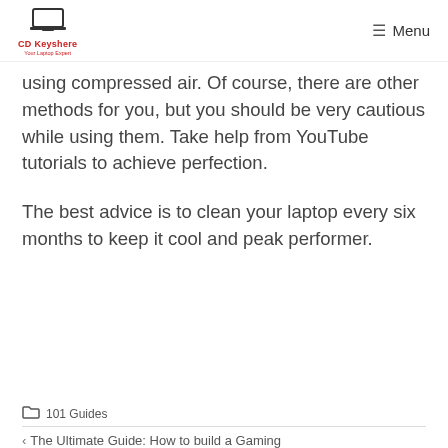CD Keyshere — Menu
using compressed air. Of course, there are other methods for you, but you should be very cautious while using them. Take help from YouTube tutorials to achieve perfection.
The best advice is to clean your laptop every six months to keep it cool and peak performer.
101 Guides
< The Ultimate Guide: How to build a Gaming